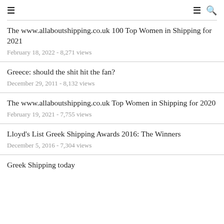≡  ≡ 🔍
The www.allaboutshipping.co.uk 100 Top Women in Shipping for 2021
February 18, 2022 - 8,271 views
Greece: should the shit hit the fan?
December 29, 2011 - 8,132 views
The www.allaboutshipping.co.uk Top Women in Shipping for 2020
February 19, 2021 - 7,755 views
Lloyd's List Greek Shipping Awards 2016: The Winners
December 5, 2016 - 7,304 views
Greek Shipping today